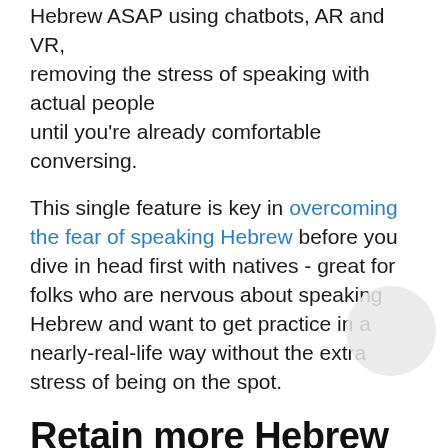Hebrew ASAP using chatbots, AR and VR, removing the stress of speaking with actual people until you're already comfortable conversing.
This single feature is key in overcoming the fear of speaking Hebrew before you dive in head first with natives - great for folks who are nervous about speaking Hebrew and want to get practice in a nearly-real-life way without the extra stress of being on the spot.
Retain more Hebrew using a unique spaced repetition system
Mondly's technology uses tested and effective intervals for repetition to help you acquire Hebrew